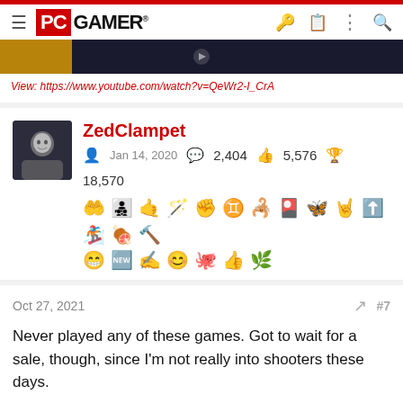PC GAMER
[Figure (screenshot): Video thumbnail strip from YouTube]
View: https://www.youtube.com/watch?v=QeWr2-I_CrA
ZedClampet
Jan 14, 2020  2,404  5,576  18,570
[Figure (illustration): Achievement/trophy badge icons row 1 and row 2]
Oct 27, 2021  #7
Never played any of these games. Got to wait for a sale, though, since I'm not really into shooters these days.
[Figure (infographic): Wayfair advertisement banner: Top Appliances Low Prices, Shop now]